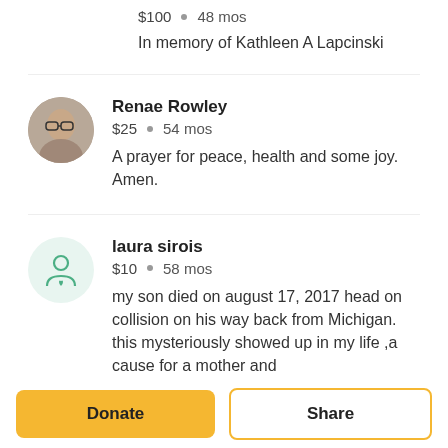$100 • 48 mos
In memory of Kathleen A Lapcinski
Renae Rowley
$25 • 54 mos
A prayer for peace, health and some joy. Amen.
laura sirois
$10 • 58 mos
my son died on august 17, 2017 head on collision on his way back from Michigan. this mysteriously showed up in my life ,a cause for a mother and